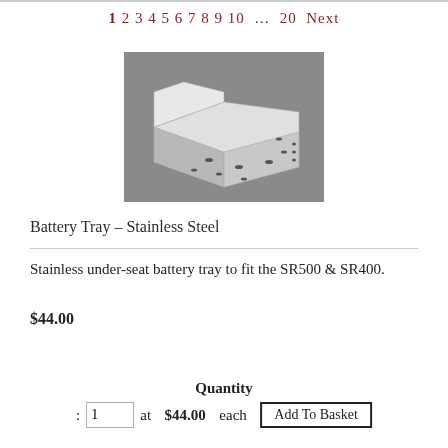1 2 3 4 5 6 7 8 9 10 … 20 Next
[Figure (photo): A stainless steel battery tray product photo showing a rectangular metal tray with mounting holes, photographed on a grey background.]
Battery Tray – Stainless Steel
Stainless under-seat battery tray to fit the SR500 & SR400.
$44.00
Quantity
: 1  at  $44.00  each  Add To Basket